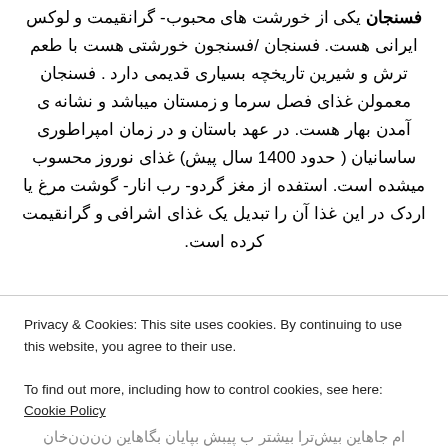فسنجان یکی از خورشت های محبوب- گرانقیمت و لوکس ایرانی هست. فسنجان /فسنجون خورشتی هست با طعم ترش و شیرین تاریخچه بسیاری قدیمی دارد . فسنجان معمولن غذای فصل سرما و زمستان میباشد و نشانه ی آمدن بهار هست. در عهد باستان و در زمان امپراطوری ساسانیان ( حدود 1400 سال پیش) غذای نوروز محسوب میشده است. استفده از مغز گردو- رب انار- گوشت مرغ یا اردک در این غذا آن را تبدیل یک غذای اشرافی و گرانقیمت کرده است.
Privacy & Cookies: This site uses cookies. By continuing to use this website, you agree to their use. To find out more, including how to control cookies, see here: Cookie Policy
Close and accept
(partial Persian text at bottom)